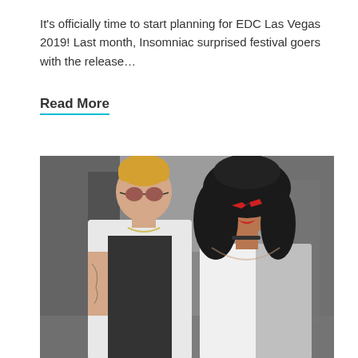It's officially time to start planning for EDC Las Vegas 2019! Last month, Insomniac surprised festival goers with the release...
Read More
[Figure (photo): A man with blonde hair wearing a white sleeveless denim jacket and round tinted sunglasses standing next to a woman with long curly black hair wearing red cat-eye sunglasses and a white top, photographed on an urban street.]